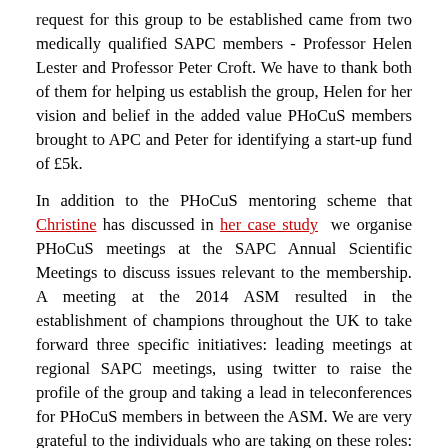request for this group to be established came from two medically qualified SAPC members - Professor Helen Lester and Professor Peter Croft. We have to thank both of them for helping us establish the group, Helen for her vision and belief in the added value PHoCuS members brought to APC and Peter for identifying a start-up fund of £5k.
In addition to the PHoCuS mentoring scheme that Christine has discussed in her case study  we organise PHoCuS meetings at the SAPC Annual Scientific Meetings to discuss issues relevant to the membership. A meeting at the 2014 ASM resulted in the establishment of champions throughout the UK to take forward three specific initiatives: leading meetings at regional SAPC meetings, using twitter to raise the profile of the group and taking a lead in teleconferences for PHoCuS members in between the ASM. We are very grateful to the individuals who are taking on these roles: Jenni Burt, Lily Lai, Sarah Knowles, Christie Cabral, Susannah Fleming, Sarah Tonkin-Crine, Akke Vellinga, Barbara Nicholl.
There are now more conversations at more levels within